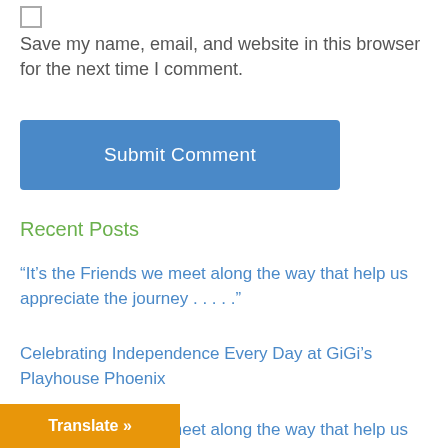Save my name, email, and website in this browser for the next time I comment.
Submit Comment
Recent Posts
“It’s the Friends we meet along the way that help us appreciate the journey . . . . .”
Celebrating Independence Every Day at GiGi’s Playhouse Phoenix
“It’s the Friends we meet along the way that help us appreciate the journey . . . . .”
“…we meet along the way that help us appreciate the journey . . . . .”
Translate »